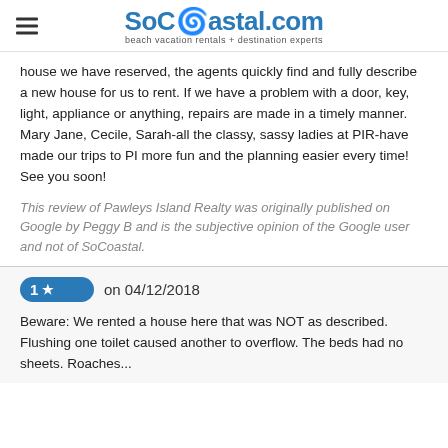SoCoastal.com — beach vacation rentals + destination experts
house we have reserved, the agents quickly find and fully describe a new house for us to rent. If we have a problem with a door, key, light, appliance or anything, repairs are made in a timely manner. Mary Jane, Cecile, Sarah-all the classy, sassy ladies at PIR-have made our trips to PI more fun and the planning easier every time! See you soon!
This review of Pawleys Island Realty was originally published on Google by Peggy B and is the subjective opinion of the Google user and not of SoCoastal.
1★ on 04/12/2018
Beware: We rented a house here that was NOT as described. Flushing one toilet caused another to overflow. The beds had no sheets. Roaches...